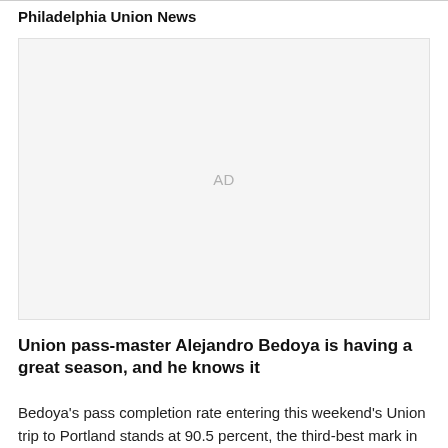Philadelphia Union News
[Figure (other): Advertisement placeholder box with 'AD' label in light gray]
Union pass-master Alejandro Bedoya is having a great season, and he knows it
Bedoya's pass completion rate entering this weekend's Union trip to Portland stands at 90.5 percent, the third-best mark in MLS.